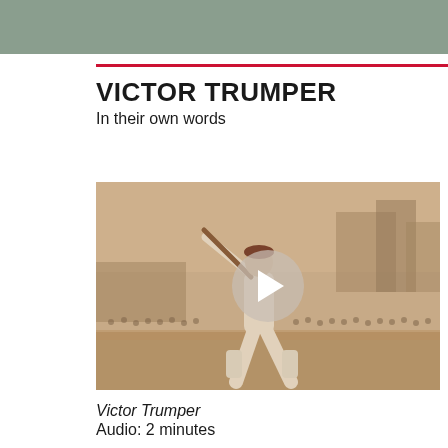VICTOR TRUMPER
In their own words
[Figure (photo): Sepia-toned historical photograph of Victor Trumper playing cricket, shown mid-swing with a bat. A crowd is visible in the background. A circular play button overlay is centered on the image.]
Victor Trumper
Audio: 2 minutes